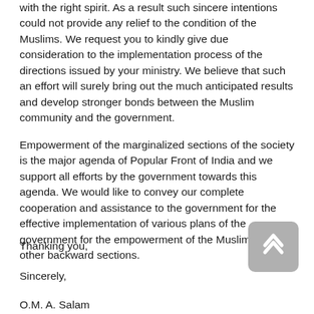with the right spirit. As a result such sincere intentions could not provide any relief to the condition of the Muslims. We request you to kindly give due consideration to the implementation process of the directions issued by your ministry. We believe that such an effort will surely bring out the much anticipated results and develop stronger bonds between the Muslim community and the government.
Empowerment of the marginalized sections of the society is the major agenda of Popular Front of India and we support all efforts by the government towards this agenda. We would like to convey our complete cooperation and assistance to the government for the effective implementation of various plans of the government for the empowerment of the Muslims and other backward sections.
Thanking you,
Sincerely,
O.M. A. Salam